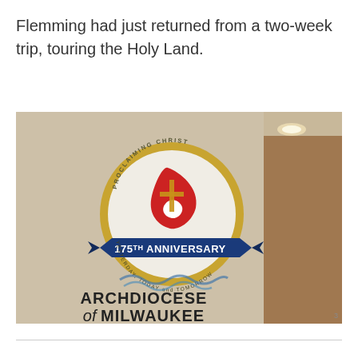Flemming had just returned from a two-week trip, touring the Holy Land.
[Figure (photo): Photograph of a wall displaying the Archdiocese of Milwaukee 175th Anniversary logo, with a circular emblem reading 'Proclaiming Christ' and 'Yesterday, Today and Tomorrow', featuring a red dove/ship sail with a cross, set against a beige/tan wall interior.]